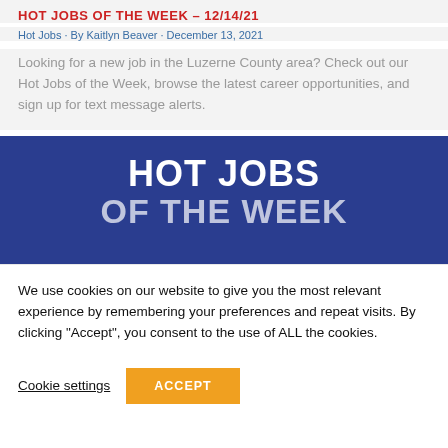HOT JOBS OF THE WEEK – 12/14/21
Hot Jobs · By Kaitlyn Beaver · December 13, 2021
Looking for a new job in the Luzerne County area? Check out our Hot Jobs of the Week, browse the latest career opportunities, and sign up for text message alerts.
[Figure (illustration): Dark blue banner with bold white text reading 'HOT JOBS OF THE WEEK']
We use cookies on our website to give you the most relevant experience by remembering your preferences and repeat visits. By clicking "Accept", you consent to the use of ALL the cookies.
Cookie settings  ACCEPT